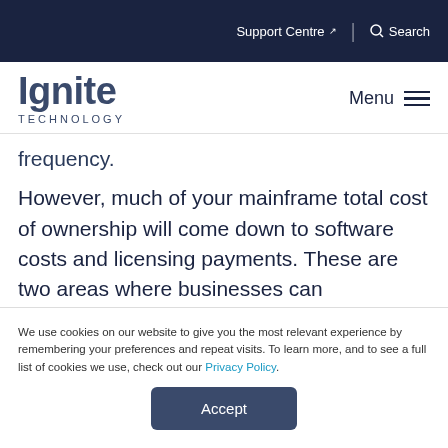Support Centre | Search
[Figure (logo): Ignite Technology logo with hamburger menu icon]
frequency.
However, much of your mainframe total cost of ownership will come down to software costs and licensing payments. These are two areas where businesses can immediately find savings – without
We use cookies on our website to give you the most relevant experience by remembering your preferences and repeat visits. To learn more, and to see a full list of cookies we use, check out our Privacy Policy.